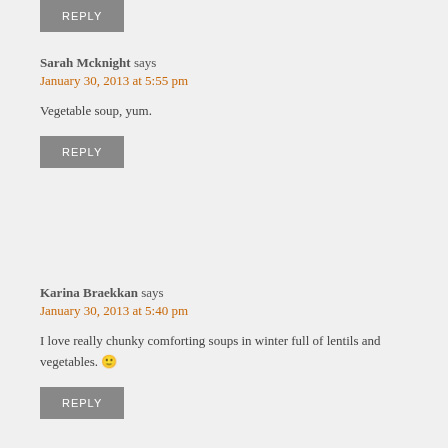REPLY
Sarah Mcknight says
January 30, 2013 at 5:55 pm
Vegetable soup, yum.
REPLY
Karina Braekkan says
January 30, 2013 at 5:40 pm
I love really chunky comforting soups in winter full of lentils and vegetables. 🙂
REPLY